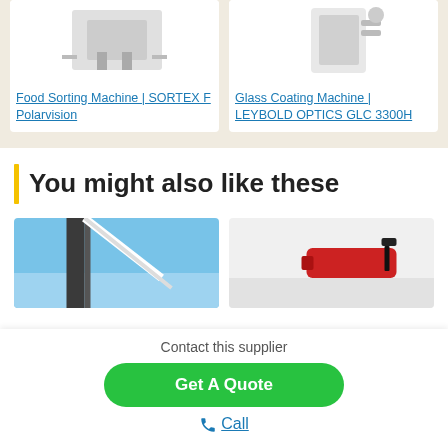[Figure (photo): Food sorting machine product image on white background (top portion visible)]
[Figure (photo): Glass coating machine product image on white background (top portion visible)]
Food Sorting Machine | SORTEX F Polarvision
Glass Coating Machine | LEYBOLD OPTICS GLC 3300H
You might also like these
[Figure (photo): Industrial structure against blue sky background]
[Figure (photo): Red tool/device on light background]
Contact this supplier
Get A Quote
Call